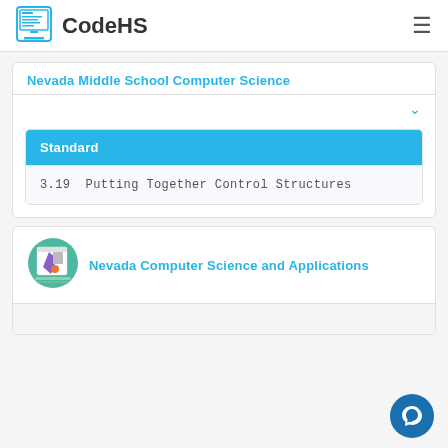CodeHS
Nevada Middle School Computer Science
| Standard |
| --- |
| 3.19  Putting Together Control Structures |
[Figure (illustration): Course icon showing a computer screen with a purple/violet shape and orange circle on a teal background circle]
Nevada Computer Science and Applications